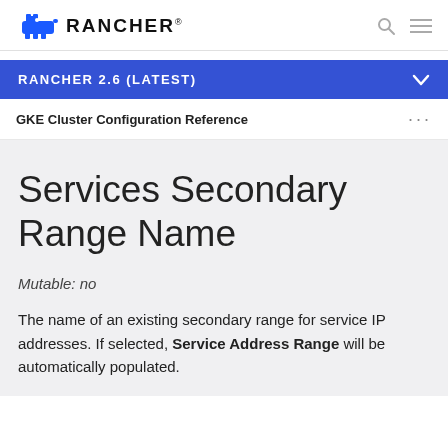RANCHER
RANCHER 2.6 (LATEST)
GKE Cluster Configuration Reference
Services Secondary Range Name
Mutable: no
The name of an existing secondary range for service IP addresses. If selected, Service Address Range will be automatically populated.